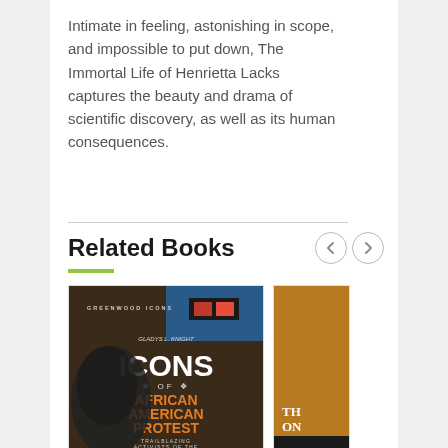Intimate in feeling, astonishing in scope, and impossible to put down, The Immortal Life of Henrietta Lacks captures the beauty and drama of scientific discovery, as well as its human consequences.
Related Books
[Figure (photo): Book cover of 'Icons of African American Protest: Trailblazing Activists of the Civil Rights Movement' by Gladys L. Knight, part of the Greenwood Icons series. Shows a close-up black and white photo of a woman's face with the title in large text.]
[Figure (photo): Partial view of a second book cover with brown/golden color, partially cropped. Shows the beginning of a title starting with 'Th' and 'On'.]